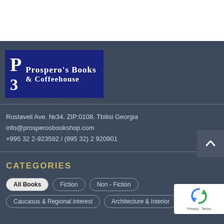[Figure (logo): Prospero's Books & Coffeehouse logo — dark blue rectangle with stylized P3 letters and serif text]
Rustaveli Ave. №34. ZIP:0108. Tbilisi Georgia
info@prosperosbookshop.com
+995 32 2-923592 / (995 32) 2 920901
CATEGORIES
All Books
Fiction
Non - Fiction
Caucasus & Regional interest
Architecture & Interior